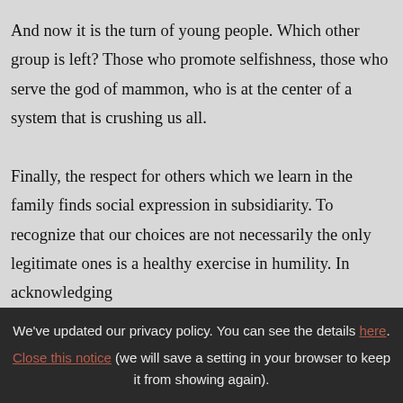And now it is the turn of young people. Which other group is left? Those who promote selfishness, those who serve the god of mammon, who is at the center of a system that is crushing us all.

Finally, the respect for others which we learn in the family finds social expression in subsidiarity. To recognize that our choices are not necessarily the only legitimate ones is a healthy exercise in humility. In acknowledging
We've updated our privacy policy. You can see the details here. Close this notice (we will save a setting in your browser to keep it from showing again).